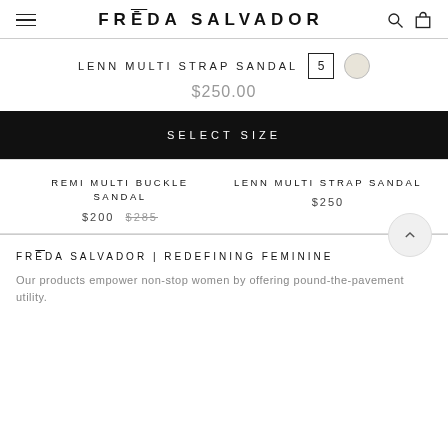FRĒDA SALVADOR
LENN MULTI STRAP SANDAL
$250.00
SELECT SIZE
REMI MULTI BUCKLE SANDAL $200  $285
LENN MULTI STRAP SANDAL $250
FRĒDA SALVADOR | REDEFINING FEMININE
Our products empower non-stop women by offering pound-the-pavement utility.